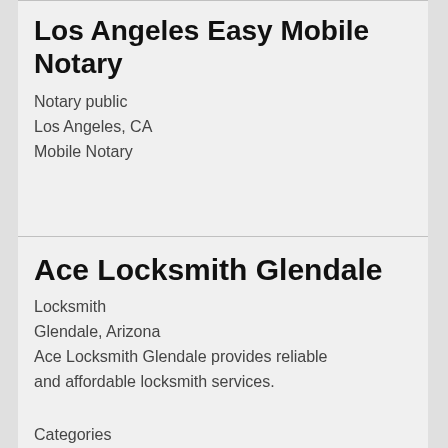Los Angeles Easy Mobile Notary
Notary public
Los Angeles, CA
Mobile Notary
Ace Locksmith Glendale
Locksmith
Glendale, Arizona
Ace Locksmith Glendale provides reliable and affordable locksmith services.
Categories